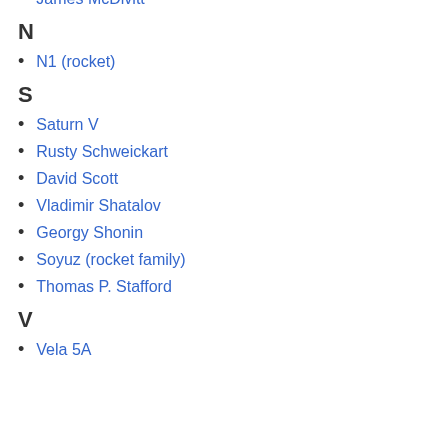James McDivitt
N
N1 (rocket)
S
Saturn V
Rusty Schweickart
David Scott
Vladimir Shatalov
Georgy Shonin
Soyuz (rocket family)
Thomas P. Stafford
V
Vela 5A